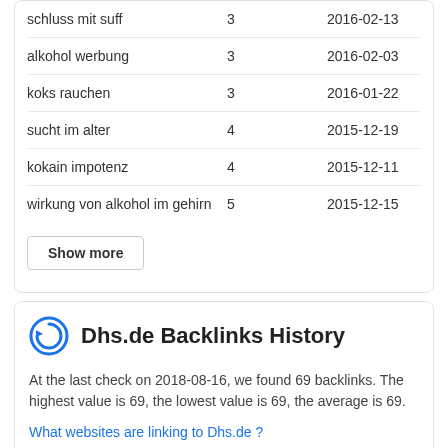| Keyword | Value | Date |
| --- | --- | --- |
| schluss mit suff | 3 | 2016-02-13 |
| alkohol werbung | 3 | 2016-02-03 |
| koks rauchen | 3 | 2016-01-22 |
| sucht im alter | 4 | 2015-12-19 |
| kokain impotenz | 4 | 2015-12-11 |
| wirkung von alkohol im gehirn | 5 | 2015-12-15 |
Show more
Dhs.de Backlinks History
At the last check on 2018-08-16, we found 69 backlinks. The highest value is 69, the lowest value is 69, the average is 69.
What websites are linking to Dhs.de ?